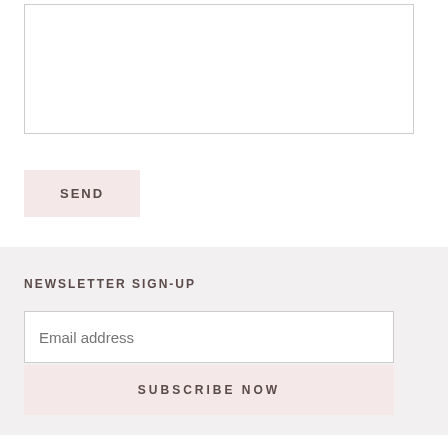[Figure (screenshot): Textarea input box (mostly empty, white background, thin gray border)]
SEND
NEWSLETTER SIGN-UP
Email address
SUBSCRIBE NOW